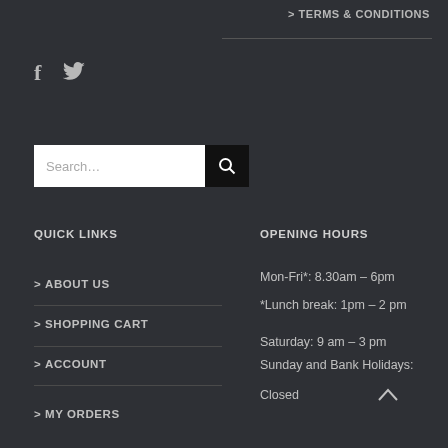> TERMS & CONDITIONS
[Figure (illustration): Social media icons: Facebook (f) and Twitter (bird icon)]
[Figure (screenshot): Search bar with text input 'Search...' and a black search button with magnifying glass icon]
QUICK LINKS
OPENING HOURS
> ABOUT US
Mon-Fri*: 8.30am – 6pm
*Lunch break: 1pm – 2 pm
> SHOPPING CART
Saturday: 9 am – 3 pm
> ACCOUNT
Sunday and Bank Holidays: Closed
> MY ORDERS